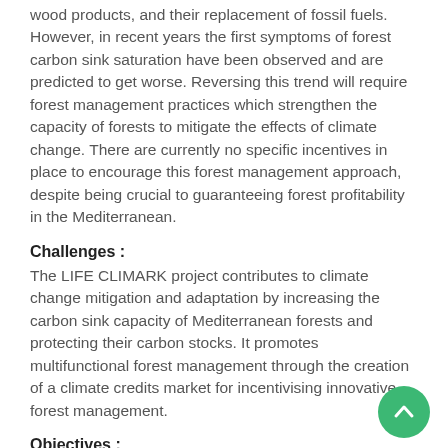wood products, and their replacement of fossil fuels. However, in recent years the first symptoms of forest carbon sink saturation have been observed and are predicted to get worse. Reversing this trend will require forest management practices which strengthen the capacity of forests to mitigate the effects of climate change. There are currently no specific incentives in place to encourage this forest management approach, despite being crucial to guaranteeing forest profitability in the Mediterranean.
Challenges :
The LIFE CLIMARK project contributes to climate change mitigation and adaptation by increasing the carbon sink capacity of Mediterranean forests and protecting their carbon stocks. It promotes multifunctional forest management through the creation of a climate credits market for incentivising innovative forest management.
Objectives :
The main objectives of the CLIMARK project are to